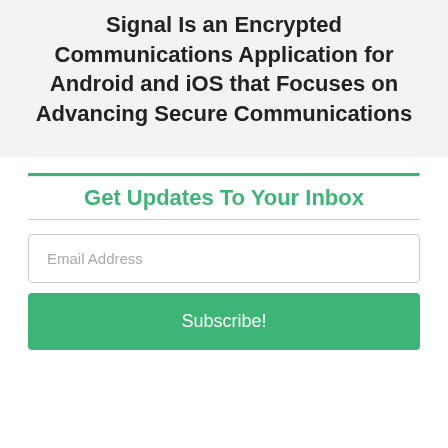Signal Is an Encrypted Communications Application for Android and iOS that Focuses on Advancing Secure Communications
Get Updates To Your Inbox
Email Address
Subscribe!